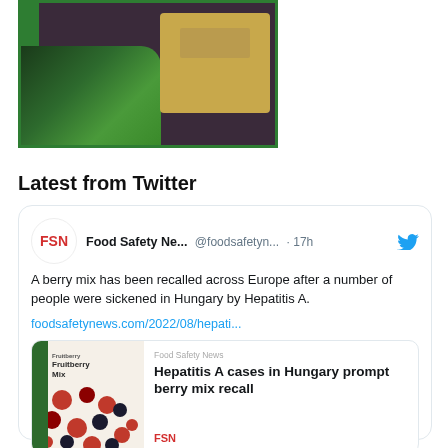[Figure (photo): Photo of green herbs/plants next to a brown cardboard box with a window cutout, set against a dark background, framed with a green border]
Latest from Twitter
[Figure (screenshot): Twitter/X embedded tweet card from Food Safety News (@foodsafetyn...) posted 17h ago: 'A berry mix has been recalled across Europe after a number of people were sickened in Hungary by Hepatitis A.' with link foodsafetynews.com/2022/08/hepati... and an embedded article card showing 'Hepatitis A cases in Hungary prompt berry mix recall' with a Fruitberry Mix bag image and FSN logo]